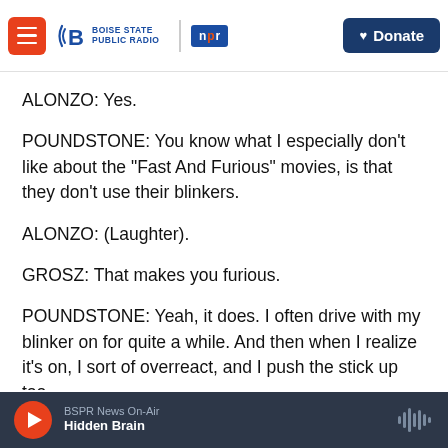Boise State Public Radio | NPR | Donate
ALONZO: Yes.
POUNDSTONE: You know what I especially don't like about the "Fast And Furious" movies, is that they don't use their blinkers.
ALONZO: (Laughter).
GROSZ: That makes you furious.
POUNDSTONE: Yeah, it does. I often drive with my blinker on for quite a while. And then when I realize it's on, I sort of overreact, and I push the stick up too
BSPR News On-Air | Hidden Brain